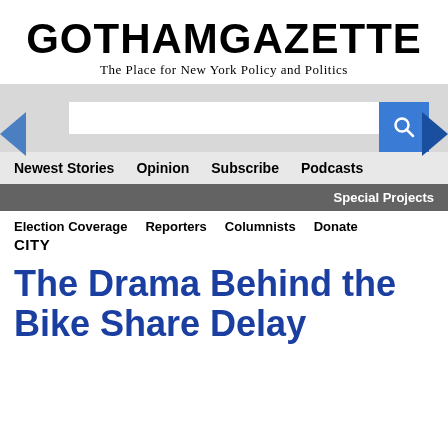[Figure (logo): Gotham Gazette logo with tagline 'The Place for New York Policy and Politics']
[Figure (screenshot): Search bar with blue search button and navigation arrows]
Newest Stories   Opinion   Subscribe   Podcasts
Special Projects
Election Coverage   Reporters   Columnists   Donate
CITY
The Drama Behind the Bike Share Delay